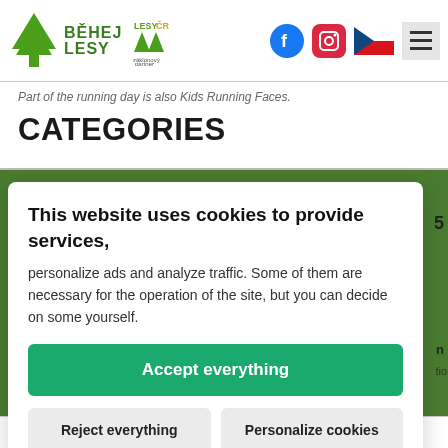BĚHEJ LESY
Part of the running day is also Kids Running Faces.
CATEGORIES
This website uses cookies to provide services, personalize ads and analyze traffic. Some of them are necessary for the operation of the site, but you can decide on some yourself.
Accept everything
Reject everything
Personalize cookies
| 500 m / 1 km | 100 CZK | 150 CZK |
| --- | --- | --- |